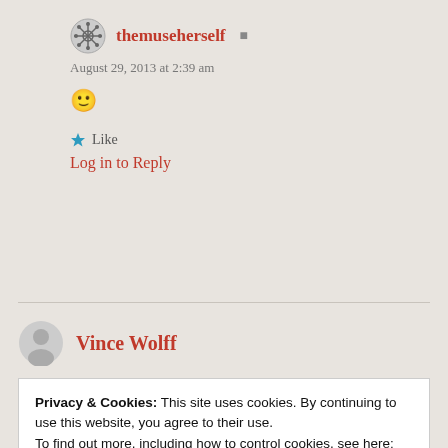themuseherself
August 29, 2013 at 2:39 am
🙂
Like
Log in to Reply
Vince Wolff
Privacy & Cookies: This site uses cookies. By continuing to use this website, you agree to their use.
To find out more, including how to control cookies, see here:
Cookie Policy
Close and accept
complete honesty was so refreshing, and I